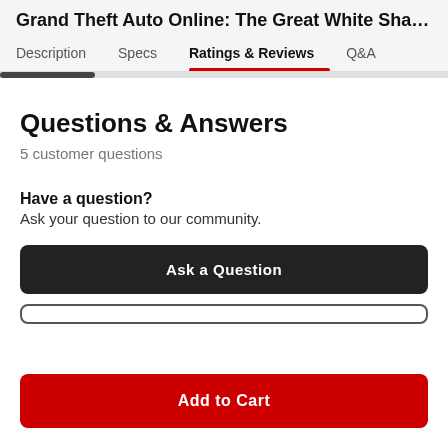Grand Theft Auto Online: The Great White Shark Ca...
Description  Specs  Ratings & Reviews  Q&A
Questions & Answers
5 customer questions
Have a question?
Ask your question to our community.
Ask a Question
Add to Cart